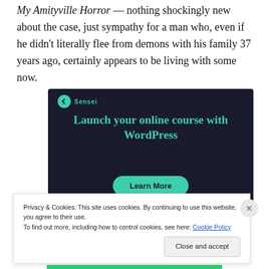My Amityville Horror — nothing shockingly new about the case, just sympathy for a man who, even if he didn't literally flee from demons with his family 37 years ago, certainly appears to be living with some now.
[Figure (other): Advertisement for Sensei: 'Launch your online course with WordPress' with a 'Learn More' button on a dark navy background with teal/green text.]
Privacy & Cookies: This site uses cookies. By continuing to use this website, you agree to their use.
To find out more, including how to control cookies, see here: Cookie Policy
Close and accept